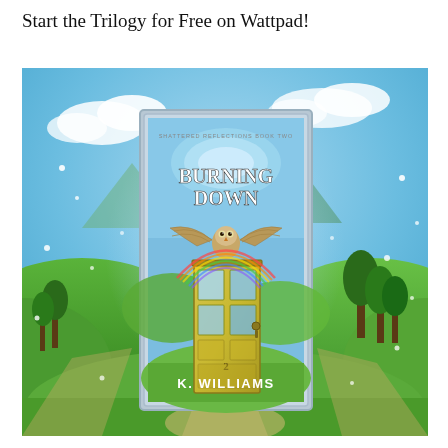Start the Trilogy for Free on Wattpad!
[Figure (illustration): Book cover for 'Burning Down' by K. Williams. The cover shows a fantastical landscape with green rolling hills, a winding path, blue sky with clouds, and sparkling light particles. In the center is a book cover within the scene featuring a yellow/gold door with glass panels numbered '2', an owl flying with wings spread and a rainbow arc, and the title 'BURNING DOWN' in bold letters at the top. The author name 'K. WILLIAMS' appears at the bottom in white text. The inner cover has a silver/grey decorative border.]